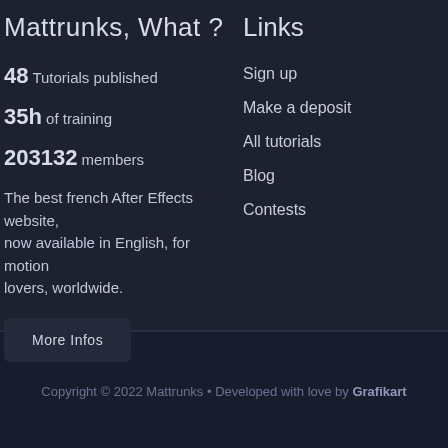Mattrunks, What ?
Links
48 Tutorials published
35h of training
203132 members
The best french After Effects website, now available in English, for motion lovers, worldwide.
Sign up
Make a deposit
All tutorials
Blog
Contests
Copyright © 2022 Mattrunks • Developed with love by Grafikart